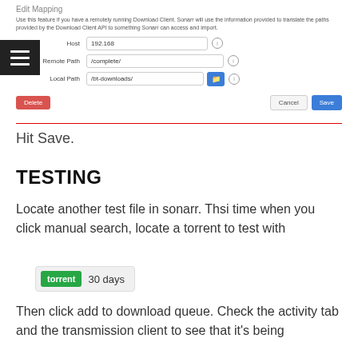Edit Mapping
Use this feature if you have a remotely running Download Client. Sonarr will use the information provided to translate the paths provided by the Download Client API to something Sonarr can access and import.
[Figure (screenshot): Form with Host (192.168), Remote Path (/complete/), and Local Path (/bt-downloads/) fields, with Delete, Cancel, and Save buttons]
Hit Save.
TESTING
Locate another test file in sonarr. Thsi time when you click manual search, locate a torrent to test with
[Figure (screenshot): Torrent badge showing green 'torrent' label and '30 days' text]
Then click add to download queue. Check the activity tab and the transmission client to see that it's being